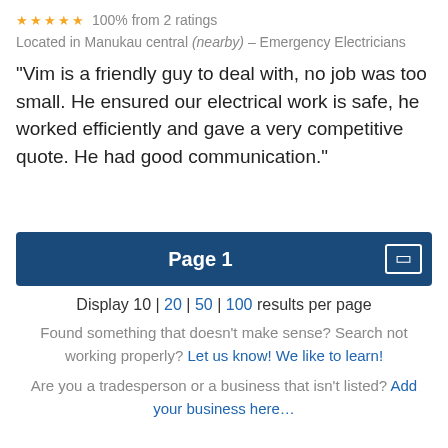★★★★★ 100% from 2 ratings
Located in Manukau central (nearby) – Emergency Electricians
"Vim is a friendly guy to deal with, no job was too small. He ensured our electrical work is safe, he worked efficiently and gave a very competitive quote. He had good communication."
Page 1
Display 10 | 20 | 50 | 100 results per page
Found something that doesn't make sense? Search not working properly? Let us know! We like to learn!
Are you a tradesperson or a business that isn't listed? Add your business here…